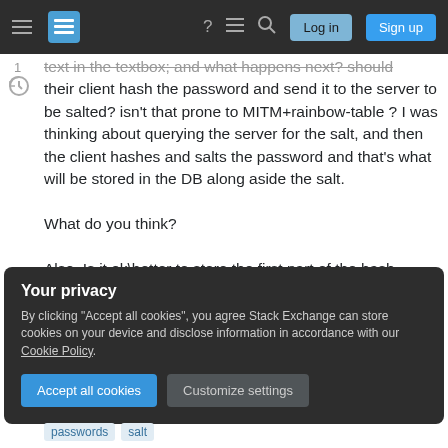Stack Exchange navigation bar with Log in and Sign up buttons
text in the textbox; and what happens next? should their client hash the password and send it to the server to be salted? isn't that prone to MITM+rainbow-table ? I was thinking about querying the server for the salt, and then the client hashes and salts the password and that's what will be stored in the DB along aside the salt.

What do you think?

Also, Is it ok\better to store the first part of the hash which is the combination of the username and
Your privacy
By clicking "Accept all cookies", you agree Stack Exchange can store cookies on your device and disclose information in accordance with our Cookie Policy.
Accept all cookies   Customize settings
passwords   salt